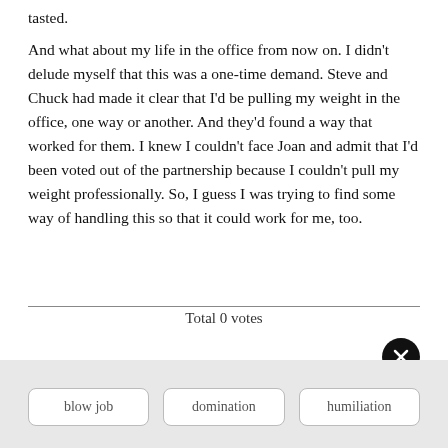tasted.
And what about my life in the office from now on. I didn't delude myself that this was a one-time demand. Steve and Chuck had made it clear that I'd be pulling my weight in the office, one way or another. And they'd found a way that worked for them. I knew I couldn't face Joan and admit that I'd been voted out of the partnership because I couldn't pull my weight professionally. So, I guess I was trying to find some way of handling this so that it could work for me, too.
Total 0 votes
blow job
domination
humiliation